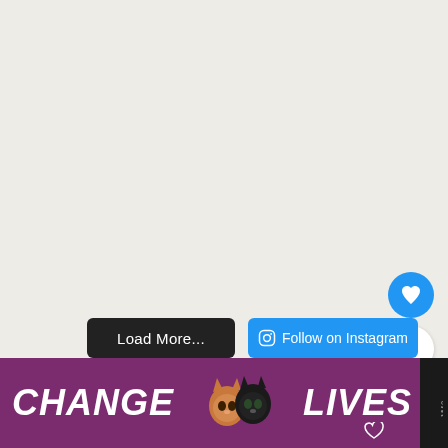[Figure (screenshot): Light beige/off-white background area filling most of the page, representing a web page content area]
[Figure (illustration): Blue circular heart/like button with white heart icon]
5
[Figure (illustration): White circular share button with blue share icon]
Load More...
Follow on Instagram
[Figure (illustration): Purple advertisement banner reading CHANGE LIVES with cat face images and a close X button, and Wunderkind logo on the right]
CHANGE LIVES